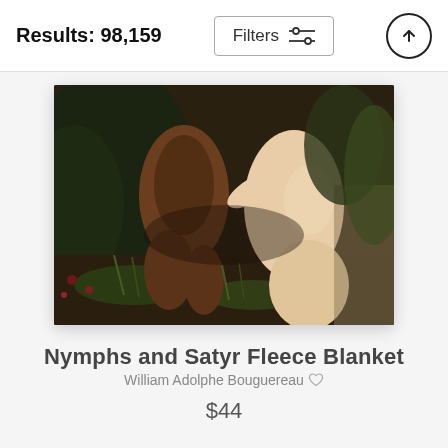Results: 98,159
[Figure (photo): Painting product image: 'Nymphs and Satyr Fleece Blanket' by William Adolphe Bouguereau, showing a classical painting of nymphs and a satyr in a forest setting.]
Nymphs and Satyr Fleece Blanket
William Adolphe Bouguereau ♡
$44